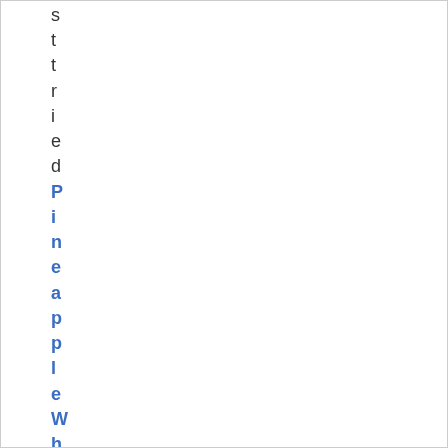s t t r i e d Pineapple Whips fort